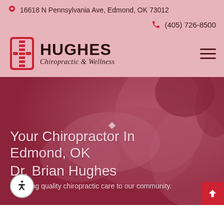16618 N Pennsylvania Ave, Edmond, OK 73012
(405) 726-8500
[Figure (logo): Hughes Chiropractic & Wellness logo with red spine/hourglass icon and bold text]
Your Chiropractor In Edmond, OK Dr. Brian Hughes
Providing quality chiropractic care to our community.